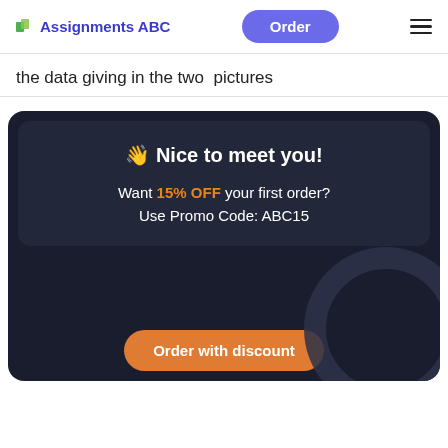Assignments ABC   Order
the data giving in the two  pictures
[Figure (infographic): Promotional banner with dark background. Shows waving hand emoji, bold text 'Nice to meet you!', offer text 'Want 15% OFF your first order? Use Promo Code: ABC15', and an orange 'Order with discount' button.]